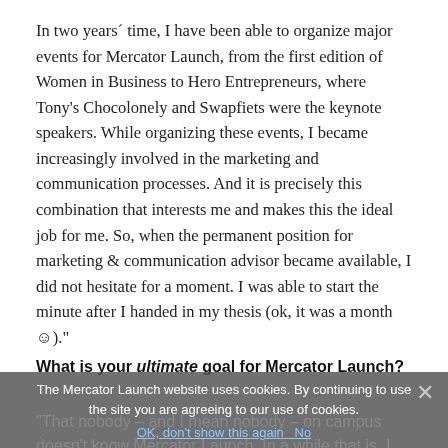In two years´ time, I have been able to organize major events for Mercator Launch, from the first edition of Women in Business to Hero Entrepreneurs, where Tony's Chocolonely and Swapfiets were the keynote speakers. While organizing these events, I became increasingly involved in the marketing and communication processes. And it is precisely this combination that interests me and makes this the ideal job for me. So, when the permanent position for marketing & communication advisor became available, I did not hesitate for a moment. I was able to start the minute after I handed in my thesis (ok, it was a month ☺)."
What is your ultimate goal for Mercator Launch?
The Mercator Launch website uses cookies. By continuing to use the site you are agreeing to our use of cookies.
OK, don't show this again   No
"That nobody – and I mean nobody – on campus doesn't know Mercator Launch. In a while that is, I just got started.